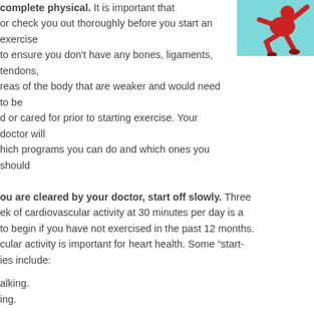[Figure (illustration): Cartoon illustration of a muscular person exercising, shown on a cyan/light blue background, figure in red]
complete physical. It is important that or check you out thoroughly before you start an exercise to ensure you don't have any bones, ligaments, tendons, reas of the body that are weaker and would need to be d or cared for prior to starting exercise. Your doctor will hich programs you can do and which ones you should
ou are cleared by your doctor, start off slowly. Three ek of cardiovascular activity at 30 minutes per day is a to begin if you have not exercised in the past 12 months. cular activity is important for heart health. Some “start- ies include:
alking.
ing.